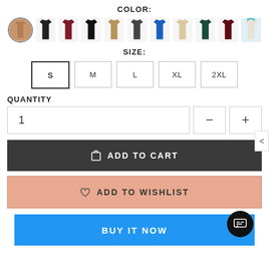COLOR:
[Figure (other): Color swatch selector with 11 garment thumbnail images. First item is selected (tan/brown corset) with a circular border. Other colors include: black, burgundy, black, tan/camel, dark gray, blue, beige/ivory, dark teal, dark red/maroon, and a teal/white option.]
SIZE:
S M L XL 2XL — size selector buttons, S is active/selected
QUANTITY
1
ADD TO CART
ADD TO WISHLIST
BUY IT NOW